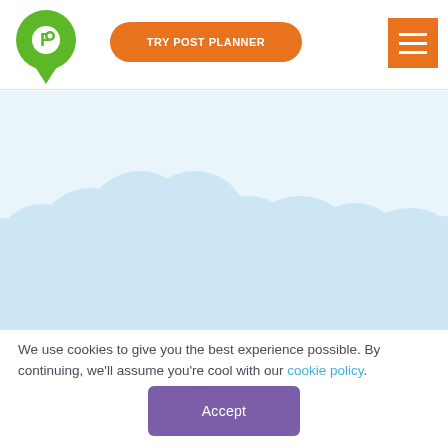[Figure (logo): Post Planner green map pin logo with white P letter inside]
TRY POST PLANNER
[Figure (illustration): Cloud-shaped light blue sky background illustration]
We use cookies to give you the best experience possible. By continuing, we'll assume you're cool with our cookie policy.
Accept